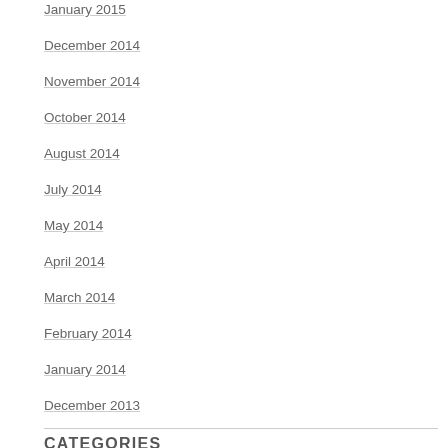January 2015
December 2014
November 2014
October 2014
August 2014
July 2014
May 2014
April 2014
March 2014
February 2014
January 2014
December 2013
CATEGORIES